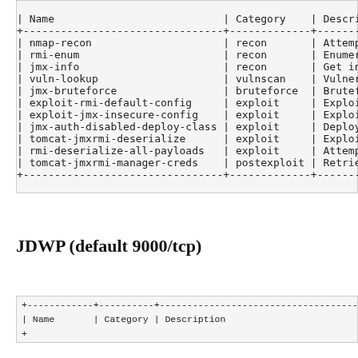| Name | Category | Description |
| --- | --- | --- |
| nmap-recon | recon | Attempt to dump all objects from . |
| rmi-enum | recon | Enumerate RMI services |
| jmx-info | recon | Get information about JMX and the |
| vuln-lookup | vulnscan | Vulnerability lookup in Vulners.c |
| jmx-bruteforce | bruteforce | Bruteforce creds to connect to J |
| exploit-rmi-default-config | exploit | Exploit default config in RMI |
| exploit-jmx-insecure-config | exploit | Exploit JMX insecure config |
| jmx-auth-disabled-deploy-class | exploit | Deploy malicious MBean c |
| tomcat-jmxrmi-deserialize | exploit | Exploit Java-RMI deserialize |
| rmi-deserialize-all-payloads | exploit | Attempt to exploit Java deser |
| tomcat-jmxrmi-manager-creds | postexploit | Retrieve Manager creds |
JDWP (default 9000/tcp)
| Name | Category | Description | Tool used |
| --- | --- | --- | --- |